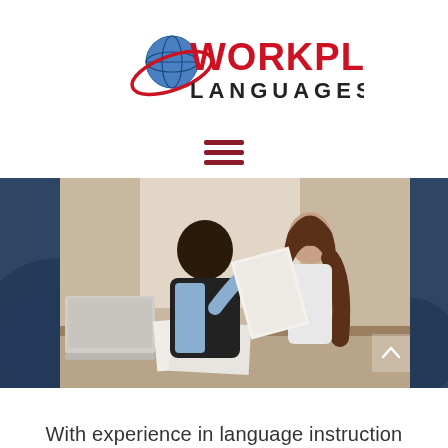[Figure (logo): Workplace Languages logo — large red bold text 'WORKPLACE' with globe icon replacing the 'O', dark text 'LANGUAGES' beneath, red orbital ellipse swooping around the globe]
[Figure (other): Hamburger menu icon — three horizontal dark red lines]
[Figure (photo): A man in a dark jacket and light blue shirt and a woman in a white top sit at a desk reviewing documents together, with a laptop visible on the left. Background shows an office or workspace setting. Dark blue panels flank the left and right edges of the photo.]
With experience in language instruction comes